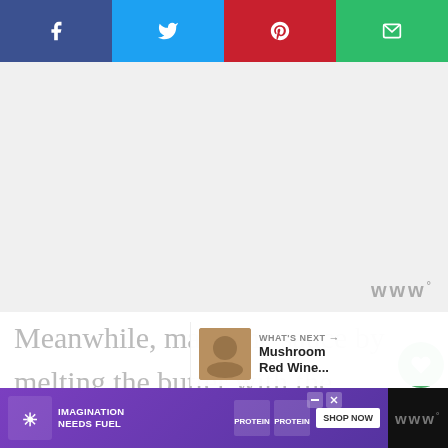[Figure (infographic): Social share bar with Facebook (blue-purple), Twitter (blue), Pinterest (red), and Email (green) buttons]
[Figure (other): Light gray placeholder image area with watermark logo WWW° in bottom right corner]
Meanwhile, make the sauce by melting the butter with the heavy cream.
[Figure (infographic): Side action buttons: green heart/like button with count 20, and a share button below]
Add the seasonings of nutmeg and...
[Figure (infographic): What's Next banner showing Mushroom Red Wine... article preview]
[Figure (other): Advertisement banner: IMAGINATION NEEDS FUEL with Clif protein bar products and SHOP NOW button]